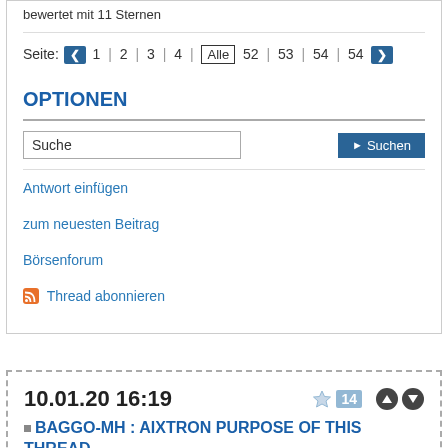bewertet mit 11 Sternen
Seite: « 1 | 2 | 3 | 4 | Alle 52 | 53 | 54 | 54 »
OPTIONEN
Suche
Antwort einfügen
zum neuesten Beitrag
Börsenforum
Thread abonnieren
10.01.20 16:19
BAGGO-MH : AIXTRON PURPOSE OF THIS THREAD
For the time being this forum is closed to keep users